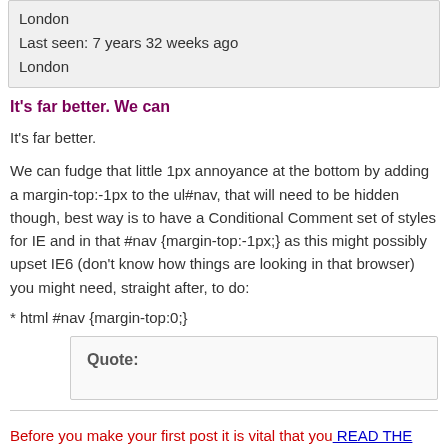London
Last seen: 7 years 32 weeks ago
London
It's far better. We can
It's far better.
We can fudge that little 1px annoyance at the bottom by adding a margin-top:-1px to the ul#nav, that will need to be hidden though, best way is to have a Conditional Comment set of styles for IE and in that #nav {margin-top:-1px;} as this might possibly upset IE6 (don't know how things are looking in that browser) you might need, straight after, to do:
* html #nav {margin-top:0;}
Quote:
Before you make your first post it is vital that you READ THE POSTING GUIDELINES!
Please post ALL your code - both CSS & HTML - in [code] tags